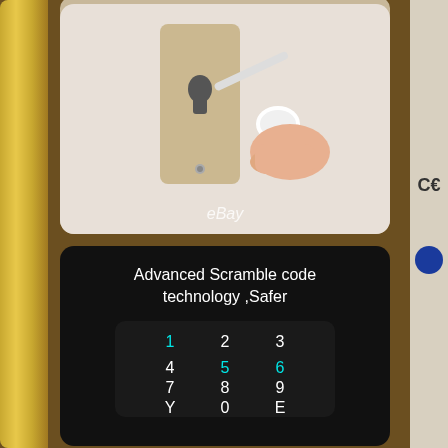[Figure (photo): A hand inserting a key into a door lock keyhole on a gold/champagne colored door lock plate. An eBay watermark is visible at the bottom of the image.]
Advanced Scramble code technology ,Safer
[Figure (photo): A numeric keypad display showing digits 1-9, Y, 0, E arranged in a grid on a dark background with certain numbers (1, 5, 6) highlighted in cyan/teal color.]